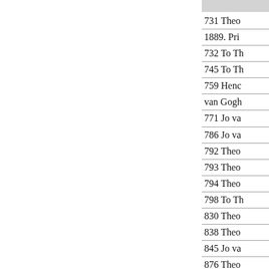[Figure (other): Gray/light rectangle at top of page, partially visible]
731 Theo
1889. Pri
732 To Th
745 To Th
759 Henc
van Gogh
771 Jo va
786 Jo va
792 Theo
793 Theo
794 Theo
798 To Th
830 Theo
838 Theo
845 Jo va
876 Theo
878 To A
879 To W
897 Theo